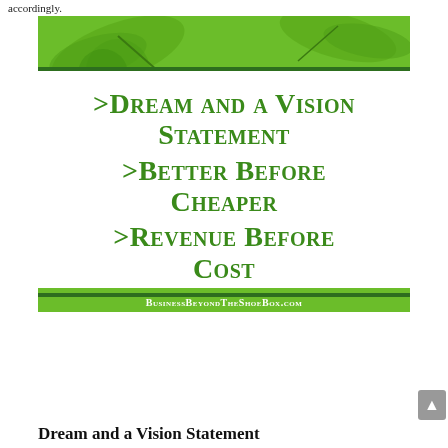accordingly.
[Figure (infographic): Green infographic box with decorative leaf header, listing: >Dream and a Vision Statement, >Better Before Cheaper, >Revenue Before Cost. Footer reads BusinessBeyondTheShoeBox.com]
Dream and a Vision Statement